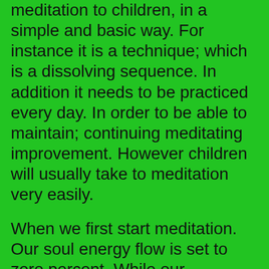meditation to children, in a simple and basic way. For instance it is a technique; which is a dissolving sequence. In addition it needs to be practiced every day. In order to be able to maintain; continuing meditating improvement. However children will usually take to meditation very easily.
When we first start meditation. Our soul energy flow is set to zero percent. While our resistance level is set at 100 percent. It is essential to meditate every day. Because we need to build upon; the progress of achievement from the previous day. Children meditation explanation is a simple model; that helps explain insight meditation. As a consequential dissolving meditation sequence.